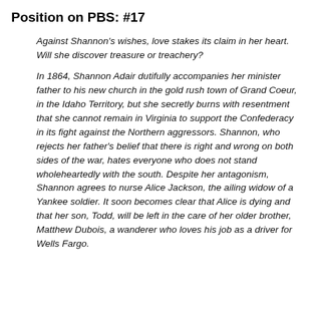Position on PBS:  #17
Against Shannon's wishes, love stakes its claim in her heart. Will she discover treasure or treachery?
In 1864, Shannon Adair dutifully accompanies her minister father to his new church in the gold rush town of Grand Coeur, in the Idaho Territory, but she secretly burns with resentment that she cannot remain in Virginia to support the Confederacy in its fight against the Northern aggressors. Shannon, who rejects her father's belief that there is right and wrong on both sides of the war, hates everyone who does not stand wholeheartedly with the south. Despite her antagonism, Shannon agrees to nurse Alice Jackson, the ailing widow of a Yankee soldier. It soon becomes clear that Alice is dying and that her son, Todd, will be left in the care of her older brother, Matthew Dubois, a wanderer who loves his job as a driver for Wells Fargo.